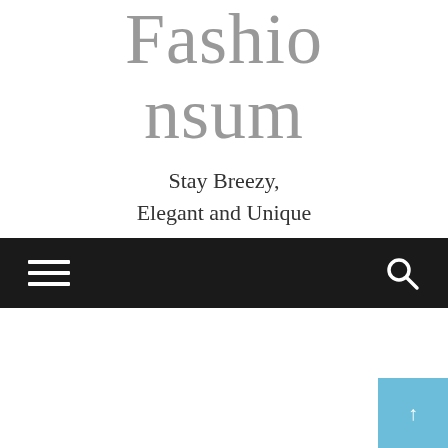Fashionsum
Stay Breezy,
Elegant and Unique
[Figure (screenshot): Dark navigation bar with hamburger menu icon on the left and search icon on the right]
[Figure (other): Light blue scroll-to-top button with upward arrow in the bottom-right corner]